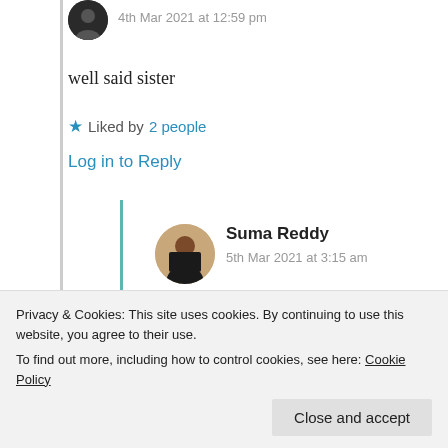[Figure (photo): Round avatar icon for a commenter, dark circular image]
4th Mar 2021 at 12:59 pm
well said sister
★ Liked by 2 people
Log in to Reply
[Figure (photo): Round avatar photo of Suma Reddy, a woman with dark hair]
Suma Reddy
5th Mar 2021 at 3:15 am
Log in to Reply
Privacy & Cookies: This site uses cookies. By continuing to use this website, you agree to their use.
To find out more, including how to control cookies, see here: Cookie Policy